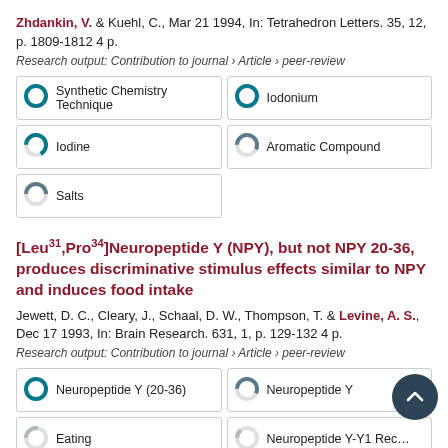Zhdankin, V. & Kuehl, C., Mar 21 1994, In: Tetrahedron Letters. 35, 12, p. 1809-1812 4 p.
Research output: Contribution to journal › Article › peer-review
[Figure (infographic): Keyword badges with donut chart icons: Synthetic Chemistry Technique (100%), Iodonium (100%), Iodine (67%), Aromatic Compound (57%), Salts (50%)]
[Leu31,Pro34]Neuropeptide Y (NPY), but not NPY 20-36, produces discriminative stimulus effects similar to NPY and induces food intake
Jewett, D. C., Cleary, J., Schaal, D. W., Thompson, T. & Levine, A. S., Dec 17 1993, In: Brain Research. 631, 1, p. 129-132 4 p.
Research output: Contribution to journal › Article › peer-review
[Figure (infographic): Keyword badges with donut chart icons: Neuropeptide Y (20-36) (100%), Neuropeptide Y (57%), Eating (28%), Neuropeptide Y-Y1 Receptors (14%), Injections (12%)]